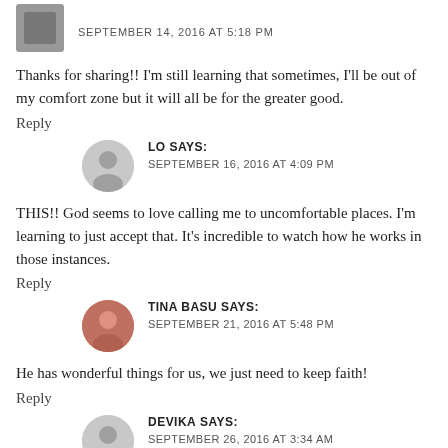SEPTEMBER 14, 2016 AT 5:18 PM
Thanks for sharing!! I'm still learning that sometimes, I'll be out of my comfort zone but it will all be for the greater good.
Reply
LO SAYS:
SEPTEMBER 16, 2016 AT 4:09 PM
THIS!! God seems to love calling me to uncomfortable places. I'm learning to just accept that. It's incredible to watch how he works in those instances.
Reply
TINA BASU SAYS:
SEPTEMBER 21, 2016 AT 5:48 PM
He has wonderful things for us, we just need to keep faith!
Reply
DEVIKA SAYS:
SEPTEMBER 26, 2016 AT 3:34 AM
Such a beautiful thought. Thanks for sharing.